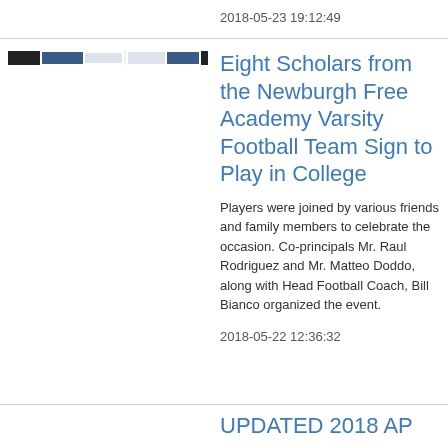2018-05-23 19:12:49
[Figure (photo): Thumbnail image showing a progress/loading bar with dark and blue segments on white background]
Eight Scholars from the Newburgh Free Academy Varsity Football Team Sign to Play in College
Players were joined by various friends and family members to celebrate the occasion. Co-principals Mr. Raul Rodriguez and Mr. Matteo Doddo, along with Head Football Coach, Bill Bianco organized the event.
2018-05-22 12:36:32
UPDATED 2018 AP